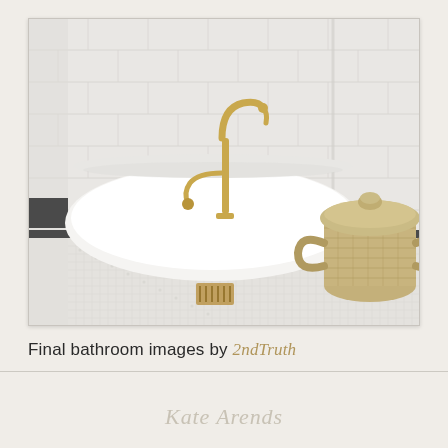[Figure (photo): Interior bathroom photo showing a freestanding white oval bathtub with brass/gold floor-mounted faucet fixtures, white subway tile walls, small mosaic white floor tiles with dark border, and a large woven basket with lid in the right corner.]
Final bathroom images by 2ndTruth
Kate Arends